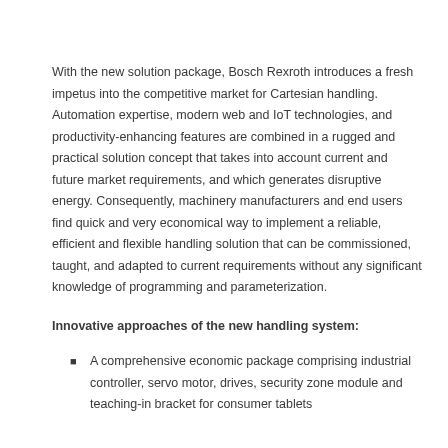With the new solution package, Bosch Rexroth introduces a fresh impetus into the competitive market for Cartesian handling. Automation expertise, modern web and IoT technologies, and productivity-enhancing features are combined in a rugged and practical solution concept that takes into account current and future market requirements, and which generates disruptive energy. Consequently, machinery manufacturers and end users find quick and very economical way to implement a reliable, efficient and flexible handling solution that can be commissioned, taught, and adapted to current requirements without any significant knowledge of programming and parameterization.
Innovative approaches of the new handling system:
A comprehensive economic package comprising industrial controller, servo motor, drives, security zone module and teaching-in bracket for consumer tablets